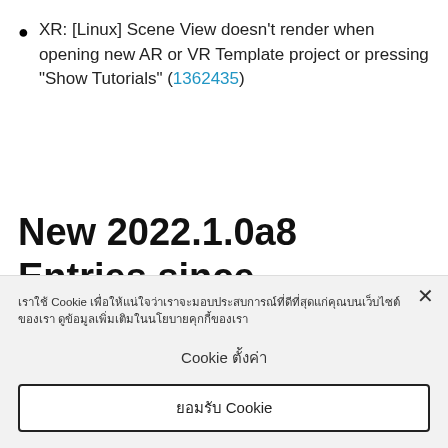XR: [Linux] Scene View doesn't render when opening new AR or VR Template project or pressing "Show Tutorials" (1362435)
New 2022.1.0a8 Entries since 2022.1.0a7
Improvements
เราใช้ Cookie เพื่อให้แน่ใจว่าเราจะมอบประสบการณ์ที่ดีที่สุดแก่คุณบนเว็บไซต์ของเรา ดูข้อมูลเพิ่มเติมในนโยบายคุกกี้ของเรา
Cookie ตั้งค่า
ยอมรับ Cookie